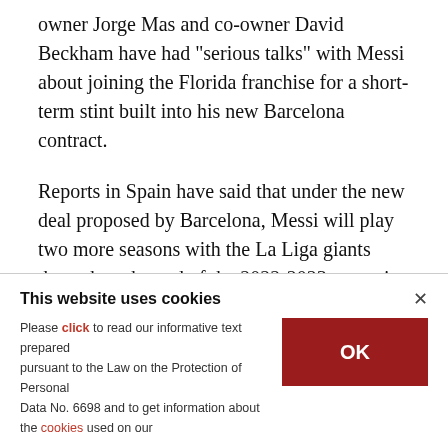owner Jorge Mas and co-owner David Beckham have had "serious talks" with Messi about joining the Florida franchise for a short-term stint built into his new Barcelona contract.
Reports in Spain have said that under the new deal proposed by Barcelona, Messi will play two more seasons with the La Liga giants through to the end of the 2022-2023 campaign before ending his playing career with two seasons in Miami.
This website uses cookies
Please click to read our informative text prepared pursuant to the Law on the Protection of Personal Data No. 6698 and to get information about the cookies used on our